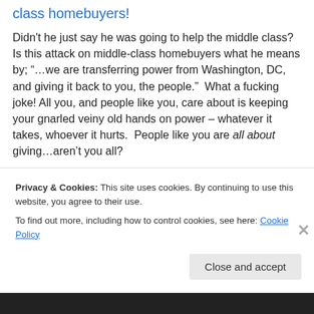class homebuyers!
Didn't he just say he was going to help the middle class? Is this attack on middle-class homebuyers what he means by; “…we are transferring power from Washington, DC, and giving it back to you, the people.”  What a fucking joke! All you, and people like you, care about is keeping your gnarled veiny old hands on power – whatever it takes, whoever it hurts.  People like you are all about giving…aren’t you all?
Trump has just whined in a speech to the CIA that the
Privacy & Cookies: This site uses cookies. By continuing to use this website, you agree to their use.
To find out more, including how to control cookies, see here: Cookie Policy